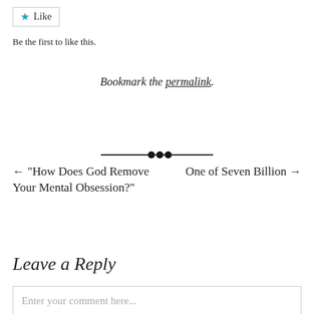[Figure (other): Like button with blue star icon and 'Like' label]
Be the first to like this.
Bookmark the permalink.
[Figure (other): Decorative horizontal divider with dots in the center]
← "How Does God Remove Your Mental Obsession?"
One of Seven Billion →
Leave a Reply
Enter your comment here...